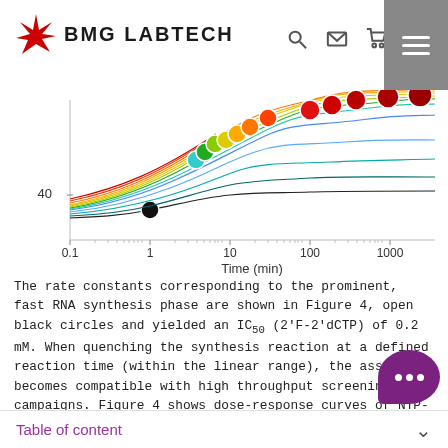BMG LABTECH
[Figure (continuous-plot): Scatter/line plot showing data points and curves of RNA synthesis over time on a logarithmic x-axis (0.1 to 1000 min). Multiple colored curves (rainbow spectrum from black through green, yellow, orange, red) with filled colored circles. Y-axis shows value 40. X-axis labeled 'Time (min)'.]
The rate constants corresponding to the prominent, fast RNA synthesis phase are shown in Figure 4, open black circles and yielded an IC50 (2'F-2'dCTP) of 0.2 mM. When quenching the synthesis reaction at a defined reaction time (within the linear range), the assay becomes compatible with high throughput screening campaigns. Figure 4 shows dose-response curves of NTP-analogues at conditions as in Figure 3 but allowing RNA synthesis to proceed for 5 minutes only and yielded e.g. IC50 (2'F-2'dCTP) = 0.2 mM (Figure 4, black squares), in agreement with the
Table of content